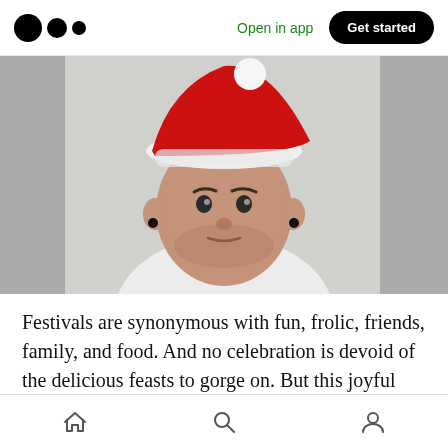Open in app  Get started
[Figure (photo): A young man wearing a red and white Santa Claus hat looking upward, with a beard, against a light gray background]
Festivals are synonymous with fun, frolic, friends, family, and food. And no celebration is devoid of the delicious feasts to gorge on. But this joyful time of the year should not make you lose
Home  Search  Profile